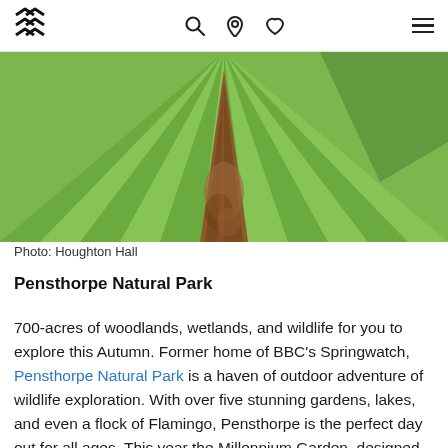Navigation bar with logo, search, location, heart, and menu icons
[Figure (photo): Aerial view of a vast green mowed field with a long pile of logs or hay bales forming a triangular shape receding into the distance, creating a strong perspective line. Photo credit: Houghton Hall]
Photo: Houghton Hall
Pensthorpe Natural Park
700-acres of woodlands, wetlands, and wildlife for you to explore this Autumn. Former home of BBC's Springwatch, Pensthorpe Natural Park is a haven of outdoor adventure of wildlife exploration. With over five stunning gardens, lakes, and even a flock of Flamingo, Pensthorpe is the perfect day out for all ages. This year the Millennium Garden, designed by